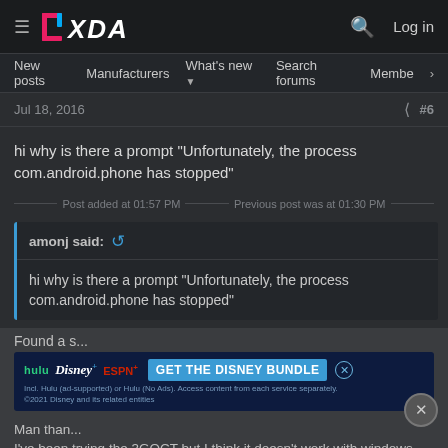XDA Forums — New posts  Manufacturers  What's new  Search forums  Members
Jul 18, 2016   #6
hi why is there a prompt "Unfortunately, the process com.android.phone has stopped"
Post added at 01:57 PM —— Previous post was at 01:30 PM
amonj said:
hi why is there a prompt "Unfortunately, the process com.android.phone has stopped"
Found a s...
[Figure (infographic): Hulu Disney+ ESPN+ GET THE DISNEY BUNDLE advertisement banner]
Man than... I've been trying the 3GQCT but I think it doesn't work with windows 10.